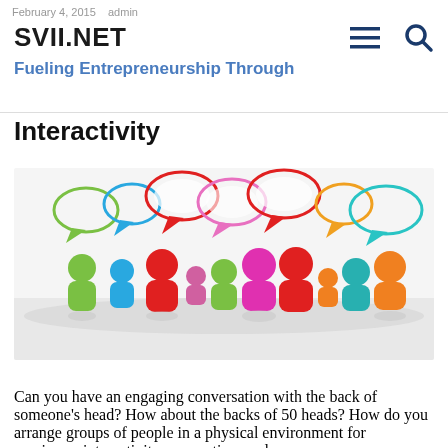SVII.NET — Fueling Entrepreneurship Through Interactivity
Fueling Entrepreneurship Through Interactivity
[Figure (illustration): Colorful 3D figurines representing people of various colors (green, blue, red, pink, magenta, orange) with speech bubbles above them in matching colors, suggesting conversation and interaction.]
Can you have an engaging conversation with the back of someone's head? How about the backs of 50 heads? How do you arrange groups of people in a physical environment for maximum interactivity, connection, and